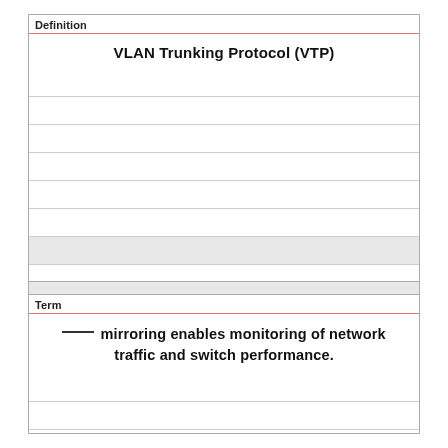Definition
VLAN Trunking Protocol (VTP)
Term
___ mirroring enables monitoring of network traffic and switch performance.